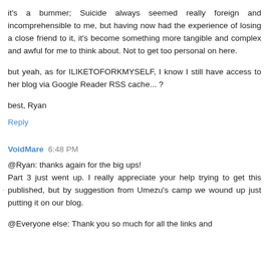it's a bummer; Suicide always seemed really foreign and incomprehensible to me, but having now had the experience of losing a close friend to it, it's become something more tangible and complex and awful for me to think about. Not to get too personal on here.
but yeah, as for ILIKETOFORKMYSELF, I know I still have access to her blog via Google Reader RSS cache... ?
best, Ryan
Reply
VoidMare 6:48 PM
@Ryan: thanks again for the big ups!
Part 3 just went up. I really appreciate your help trying to get this published, but by suggestion from Umezu's camp we wound up just putting it on our blog.
@Everyone else: Thank you so much for all the links and